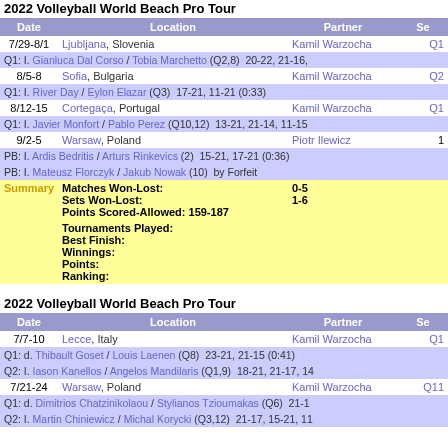2022 Volleyball World Beach Pro Tour
| Date | Location | Partner | Se |
| --- | --- | --- | --- |
| 7/29-8/1 | Ljubljana, Slovenia | Kamil Warzocha | Q1 |
|  | Q1: I. Gianluca Dal Corso / Tobia Marchetto (Q2,8)  20-22, 21-16, |  |  |
| 8/5-8 | Sofia, Bulgaria | Kamil Warzocha | Q2 |
|  | Q1: I. River Day / Eylon Elazar (Q3)  17-21, 11-21 (0:33) |  |  |
| 8/12-15 | Cortegaça, Portugal | Kamil Warzocha | Q1 |
|  | Q1: I. Javier Monfort / Pablo Perez (Q10,12)  13-21, 21-14, 11-15 |  |  |
| 9/2-5 | Warsaw, Poland | Piotr Ilewicz | 1 |
|  | PB: I. Ardis Bedritis / Arturs Rinkevics (2)  15-21, 17-21 (0:36) |  |  |
|  | PB: I. Mateusz Florczyk / Jakub Nowak (10)  by Forfeit |  |  |
| Summary | Matches Won-Lost:
Sets Won-Lost:
Points Scored-Allowed: 159-187 | Tournaments Played:
Best Finish:
Winnings:
Points:
Ranking: | 0-5
1-6
 |
2022 Volleyball World Beach Pro Tour
| Date | Location | Partner | Se |
| --- | --- | --- | --- |
| 7/7-10 | Lecce, Italy | Kamil Warzocha | Q1 |
|  | Q1: d. Thibault Goset / Louis Laenen (Q8)  23-21, 21-15 (0:41) |  |  |
|  | Q2: I. Iason Kanellos / Angelos Mandilaris (Q1,9)  18-21, 21-17, 14 |  |  |
| 7/21-24 | Warsaw, Poland | Kamil Warzocha | Q11 |
|  | Q1: d. Dimitrios Chatzinikolaou / Stylianos Tzioumakas (Q6)  21-1 |  |  |
|  | Q2: I. Martin Chiniewicz / Michal Korycki (Q3,12)  21-17, 15-21, 11 |  |  |